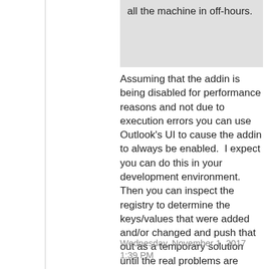all the machine in off-hours.
Assuming that the addin is being disabled for performance reasons and not due to execution errors you can use Outlook's UI to cause the addin to always be enabled.  I expect you can do this in your development environment.   Then you can inspect the registry to determine the keys/values that were added and/or changed and push that out as a temporary solution until the real problems are resolved. Unless this is done Outlook will just disable the addin again the next time that performance criteria are not met.
Wednesday, November 1, 2017 1:39 PM